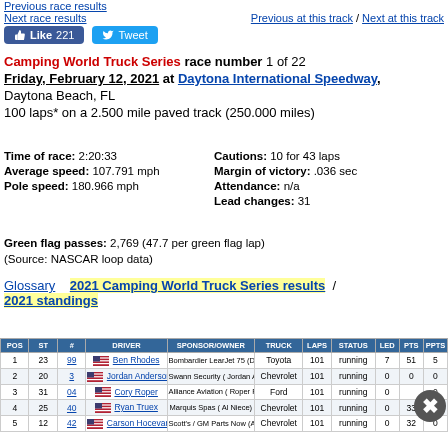Previous race results
Next race results   Previous at this track / Next at this track
Camping World Truck Series race number 1 of 22
Friday, February 12, 2021 at Daytona International Speedway, Daytona Beach, FL
100 laps* on a 2.500 mile paved track (250.000 miles)
Time of race: 2:20:33
Average speed: 107.791 mph
Pole speed: 180.966 mph
Cautions: 10 for 43 laps
Margin of victory: .036 sec
Attendance: n/a
Lead changes: 31
Green flag passes: 2,769 (47.7 per green flag lap)
(Source: NASCAR loop data)
Glossary   2021 Camping World Truck Series results / 2021 standings
| POS | ST | # | DRIVER | SPONSOR/OWNER | TRUCK | LAPS | STATUS | LED | PTS | PPTS |
| --- | --- | --- | --- | --- | --- | --- | --- | --- | --- | --- |
| 1 | 23 | 99 | Ben Rhodes | Bombardier LearJet 75 (Duke Thorson) | Toyota | 101 | running | 7 | 51 | 5 |
| 2 | 20 | 3 | Jordan Anderson | Swann Security ( Jordan Anderson) | Chevrolet | 101 | running | 0 | 0 | 0 |
| 3 | 31 | 04 | Cory Roper | Alliance Aviation ( Roper Racing) | Ford | 101 | running | 0 |  | 0 |
| 4 | 25 | 40 | Ryan Truex | Marquis Spas ( Al Niece) | Chevrolet | 101 | running | 0 | 33 | 0 |
| 5 | 12 | 42 | Carson Hocevar | Scott's / GM Parts Now (Al Niece) | Chevrolet | 101 | running | 0 | 32 | 0 |